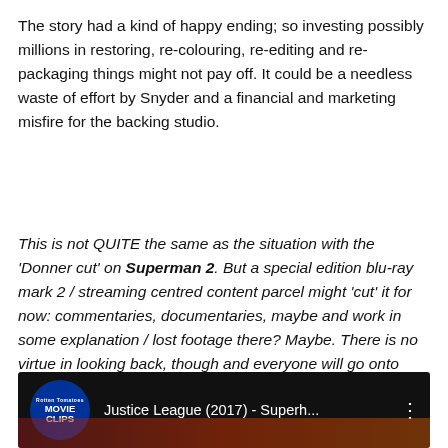The story had a kind of happy ending; so investing possibly millions in restoring, re-colouring, re-editing and re-packaging things might not pay off. It could be a needless waste of effort by Snyder and a financial and marketing misfire for the backing studio.
This is not QUITE the same as the situation with the 'Donner cut' on Superman 2. But a special edition blu-ray mark 2 / streaming centred content parcel might 'cut' it for now: commentaries, documentaries, maybe and work in some explanation / lost footage there? Maybe. There is no virtue in looking back, though and everyone will go onto bigger and better things, I have no doubt.
[Figure (screenshot): Video thumbnail showing Rotten Tomatoes Movie Clips logo and title 'Justice League (2017) - Superh...' on a dark background with reddish tones]